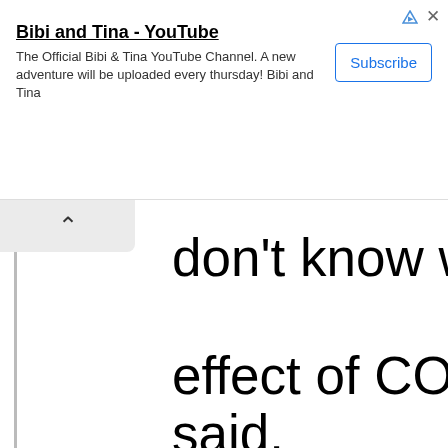[Figure (screenshot): YouTube advertisement banner for 'Bibi and Tina' channel with Subscribe button and ad icons]
don't know what the effect of COVID is going to be, said.
This article originally appeared in The New York Times